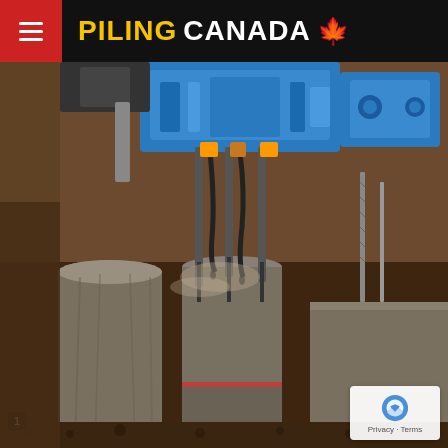PILING CANADA
[Figure (photo): Construction site photograph showing a blue hydraulic pile cutting machine attached to an excavator arm, cutting through cylindrical concrete piles. Multiple concrete pile stumps are visible in an excavated area with soil and rebar visible.]
Privacy · Terms